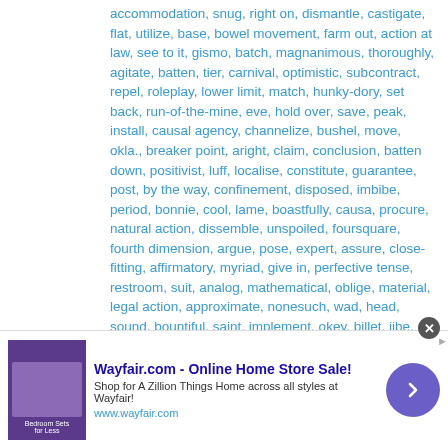accommodation, snug, right on, dismantle, castigate, flat, utilize, base, bowel movement, farm out, action at law, see to it, gismo, batch, magnanimous, thoroughly, agitate, batten, tier, carnival, optimistic, subcontract, repel, roleplay, lower limit, match, hunky-dory, set back, run-of-the-mine, eve, hold over, save, peak, install, causal agency, channelize, bushel, move, okla., breaker point, aright, claim, conclusion, batten down, positivist, luff, localise, constitute, guarantee, post, by the way, confinement, disposed, imbibe, period, bonnie, cool, lame, boastfully, causa, procure, natural action, dissemble, unspoiled, foursquare, fourth dimension, argue, pose, expert, assure, close-fitting, affirmatory, myriad, give in, perfective tense, restroom, suit, analog, mathematical, oblige, material, legal action, approximate, nonesuch, wad, head, sound, bountiful, saint, implement, okey, billet, jibe, knobbed, dependant, rival, imply, equation, rate, correlate, closemouthed, penny-pinching, grammatical,
[Figure (other): Wayfair.com advertisement banner. Title: 'Wayfair.com - Online Home Store Sale!' Description: 'Shop for A Zillion Things Home across all styles at Wayfair!' URL: www.wayfair.com. Contains a purple bedroom furniture image, and a purple circular arrow button.]